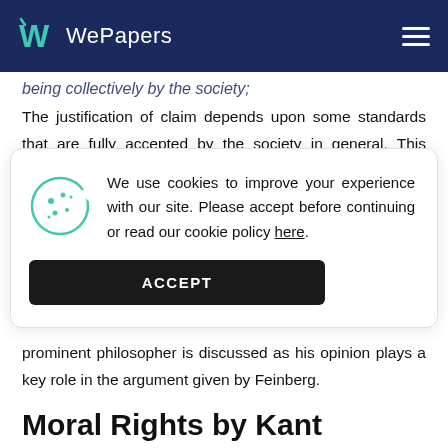WePapers
being collectively by the society;
The justification of claim depends upon some standards that are fully accepted by the society in general. This paper tends to focus on how Joel Feinberg
[Figure (other): Cookie consent popup with cookie icon. Text: 'We use cookies to improve your experience with our site. Please accept before continuing or read our cookie policy here.' With an ACCEPT button.]
prominent philosopher is discussed as his opinion plays a key role in the argument given by Feinberg.
Moral Rights by Kant